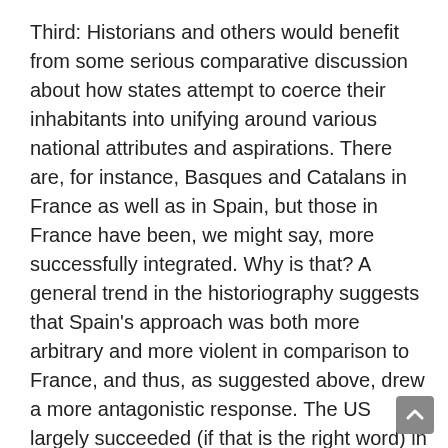Third: Historians and others would benefit from some serious comparative discussion about how states attempt to coerce their inhabitants into unifying around various national attributes and aspirations. There are, for instance, Basques and Catalans in France as well as in Spain, but those in France have been, we might say, more successfully integrated. Why is that? A general trend in the historiography suggests that Spain's approach was both more arbitrary and more violent in comparison to France, and thus, as suggested above, drew a more antagonistic response. The US largely succeeded (if that is the right word) in reducing the political potency of its minority populations. Why has the US succeeded where Spain has failed? Probably because of its use from the first of overwhelming force. From the colonial period on, a white European-ancestry majority imposed political, financial, and demographic barriers against American minority communities (American white minority erasure, all